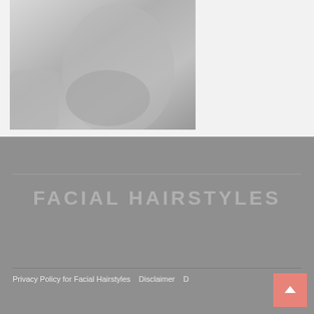[Figure (photo): Close-up black and white photo of a man's neck and lower face showing facial hair/stubble, with a hand visible near the neck area.]
FACIAL HAIRSTYLES
Privacy Policy for Facial Hairstyles   Disclaimer   D...